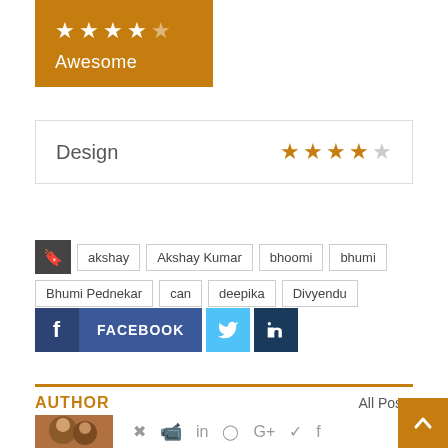[Figure (infographic): Orange rating box with 4 filled white stars and 1 dim star, labeled Awesome below]
Design ★★★★☆
akshay, Akshay Kumar, bhoomi, bhumi, Bhumi Pednekar, can, deepika, Divyendu
[Figure (infographic): Social share buttons: Facebook (blue with f icon), Twitter (light blue with bird icon), LinkedIn (dark blue with in icon)]
AUTHOR
All Posts
[Figure (photo): Author photo thumbnail showing people, with social media icon row beside it]